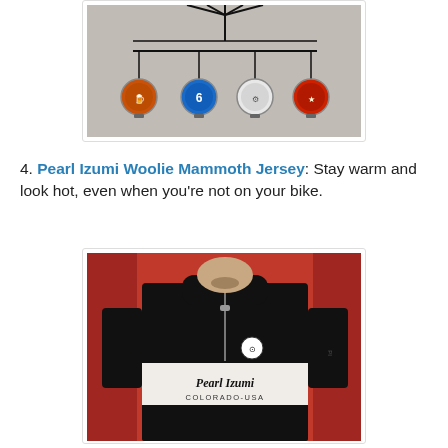[Figure (photo): Photo of a bottle-cap mobile/art piece hanging against a light gray background, with four colored bottle caps (orange, blue, white, red) suspended by wires from a fork-like metal structure.]
4. Pearl Izumi Woolie Mammoth Jersey: Stay warm and look hot, even when you’re not on your bike.
[Figure (photo): Photo of a man wearing a black and white Pearl Izumi cycling jersey with a half-zip, logo badge on chest, and 'Pearl Izumi COLORADO-USA' text on the white chest band, posing against a red background.]